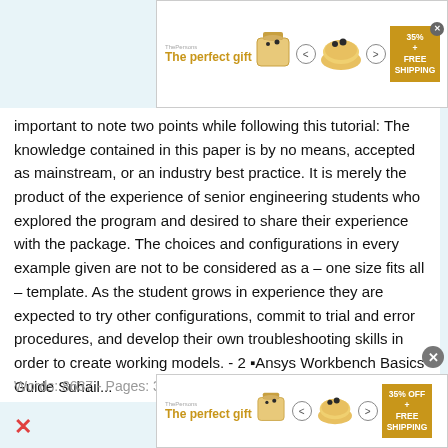[Figure (other): Advertisement banner at top: 'The perfect gift' with bowl image, navigation arrows, and 35% OFF FREE SHIPPING badge]
important to note two points while following this tutorial: The knowledge contained in this paper is by no means, accepted as mainstream, or an industry best practice. It is merely the product of the experience of senior engineering students who explored the program and desired to share their experience with the package. The choices and configurations in every example given are not to be considered as a – one size fits all – template. As the student grows in experience they are expected to try other configurations, commit to trial and error procedures, and develop their own troubleshooting skills in order to create working models. - 2 ▪Ansys Workbench Basics Guide Suhail...
Words: 8637 - Pages: 35
[Figure (other): Advertisement banner at bottom: 'The perfect gift' with bowl image, navigation arrows, and 35% OFF FREE SHIPPING badge]